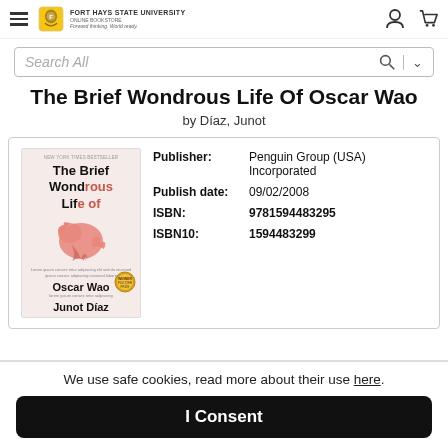FORT HAYS STATE UNIVERSITY ONLINE BOOKSTORE Forward thinking. World ready.
The Brief Wondrous Life Of Oscar Wao
by Díaz, Junot
[Figure (illustration): Book cover for The Brief Wondrous Life of Oscar Wao by Junot Díaz, featuring a pink/salmon bird silhouette on a light background with a Pulitzer Prize medal]
| Field | Value |
| --- | --- |
| Publisher: | Penguin Group (USA) Incorporated |
| Publish date: | 09/02/2008 |
| ISBN: | 9781594483295 |
| ISBN10: | 1594483299 |
We use safe cookies, read more about their use here.
I Consent